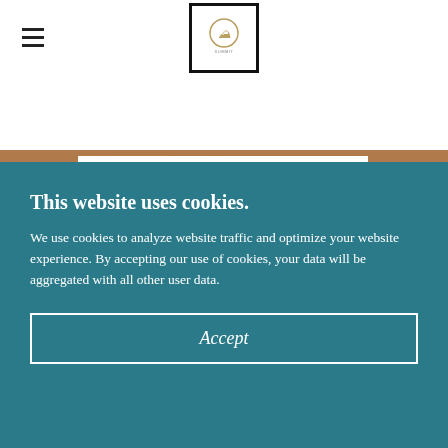[Figure (logo): Navigation bar with hamburger menu icon on the left and a square logo with an emblem in the center, on white background]
[Figure (photo): Wooden background with a white card showing the top of a green circular logo with a white stylized S letter]
This website uses cookies.
We use cookies to analyze website traffic and optimize your website experience. By accepting our use of cookies, your data will be aggregated with all other user data.
Accept